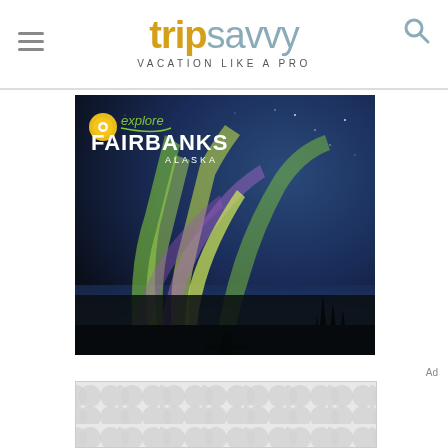tripsavvy VACATION LIKE A PRO
[Figure (illustration): Explore Fairbanks Alaska advertisement showing northern lights aurora borealis with silhouette of person standing in foreground]
Ad
[Figure (illustration): Advertisement placeholder with gray dot/bubble pattern on light gray background]